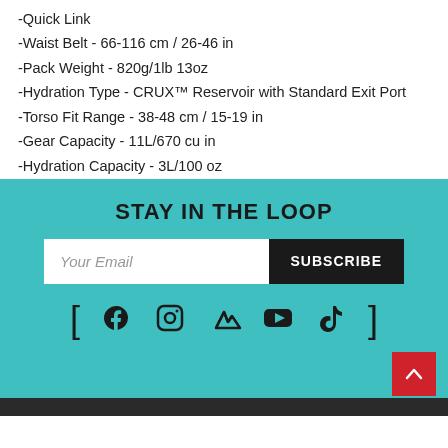-Quick Link
-Waist Belt - 66-116 cm / 26-46 in
-Pack Weight - 820g/1lb 13oz
-Hydration Type - CRUX™ Reservoir with Standard Exit Port
-Torso Fit Range - 38-48 cm / 15-19 in
-Gear Capacity - 11L/670 cu in
-Hydration Capacity - 3L/100 oz
STAY IN THE LOOP
[Figure (other): Email subscription form with input field labeled 'Your Email' and a 'SUBSCRIBE' button]
[Figure (other): Social media icons row with brackets: Facebook, Instagram, Strava, YouTube, TikTok]
Back to top button (red) and dark footer bar